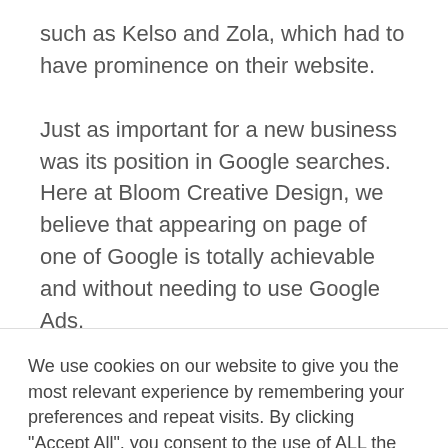such as Kelso and Zola, which had to have prominence on their website.

Just as important for a new business was its position in Google searches.
Here at Bloom Creative Design, we believe that appearing on page of one of Google is totally achievable and without needing to use Google Ads.
We use cookies on our website to give you the most relevant experience by remembering your preferences and repeat visits. By clicking "Accept All", you consent to the use of ALL the cookies. However, you may visit "Cookie Settings" to provide a controlled consent.